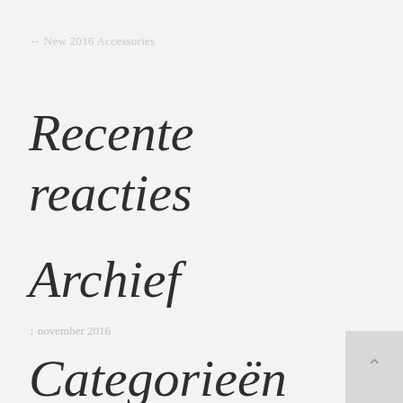← New 2016 Accessories
Recente reacties
Archief
↓ november 2016
Categorieën